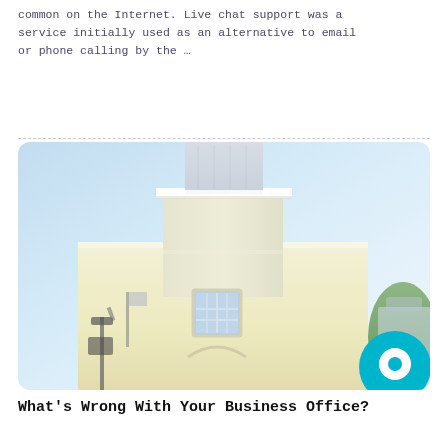common on the Internet. Live chat support was a service initially used as an alternative to email or phone calling by the …
[Figure (photo): Photo of a yellow church steeple/tower against a light blue sky, taken from a low angle looking up. The building has white trim, a gridded window, and an arched detail. Trees and street lamps are visible at the bottom edges. A teal circular chat icon overlays the lower right corner.]
What's Wrong With Your Business Office?